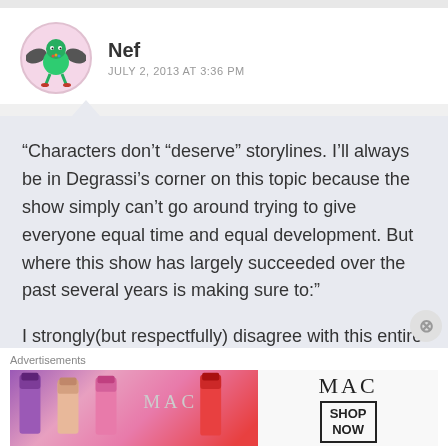[Figure (illustration): User avatar: cartoon green character with bat wings on a pink circular background]
Nef
JULY 2, 2013 AT 3:36 PM
“Characters don’t “deserve” storylines. I’ll always be in Degrassi’s corner on this topic because the show simply can’t go around trying to give everyone equal time and equal development. But where this show has largely succeeded over the past several years is making sure to:”
I strongly(but respectfully) disagree with this entire statement. Sure, you can't divide screentime
Advertisements
[Figure (photo): MAC cosmetics advertisement showing lipsticks in purple, peach, pink and red colors with MAC logo and SHOP NOW button]